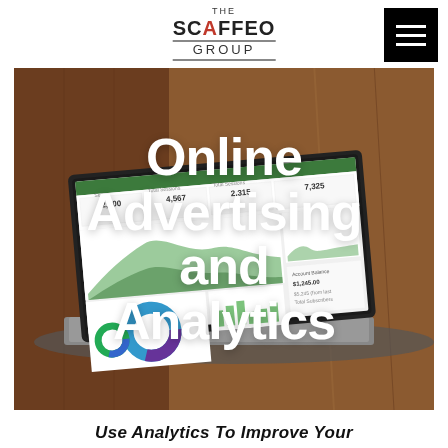THE SCAFFEO GROUP
[Figure (photo): Laptop computer displaying an analytics dashboard with charts and metrics including numbers 2,500, 4,567, 2,315, 7,325 and area charts, donut charts. Background shows wooden door.]
Online Advertising and Analytics
Use Analytics To Improve Your